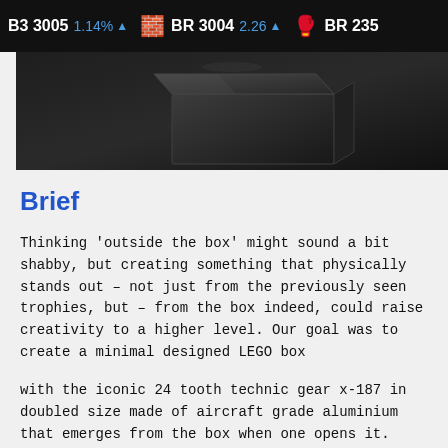B3 3005  1.14% ▲   BR 3004  2.26 ▲   BR 235
[Figure (photo): Dark product photo showing a black LEGO box against a dark background]
Brief
Thinking ‘outside the box’ might sound a bit shabby, but creating something that physically stands out – not just from the previously seen trophies, but – from the box indeed, could raise creativity to a higher level. Our goal was to create a minimal designed LEGO box
with the iconic 24 tooth technic gear x-187 in doubled size made of aircraft grade aluminium that emerges from the box when one opens it. Sounds crazy isn’t it?